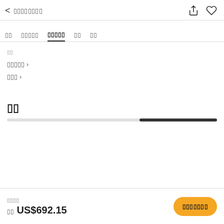< ▯▯▯▯▯▯▯▯
▯▯  ▯▯▯▯▯  ▯▯▯▯▯  ▯▯  ▯▯
▯▯
▯▯▯▯▯ >
▯▯▯ >
▯▯
▯▯▯▯
▯▯ US$692.15
▯▯▯▯▯▯▯